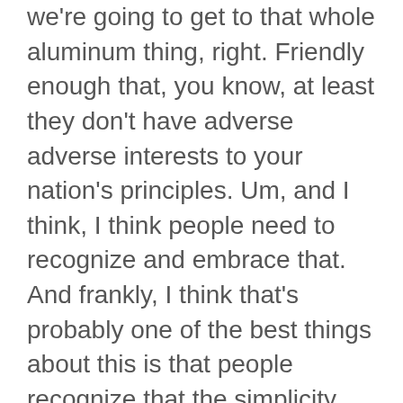we're going to get to that whole aluminum thing, right. Friendly enough that, you know, at least they don't have adverse adverse interests to your nation's principles. Um, and I think, I think people need to recognize and embrace that. And frankly, I think that's probably one of the best things about this is that people recognize that the simplicity, frankly, that we have in being able to create a continental agreement like this.
Nadia Theodore CG (29:35):
Absolutely. And you know, you said it quite rightly perfectly that the simplicity...